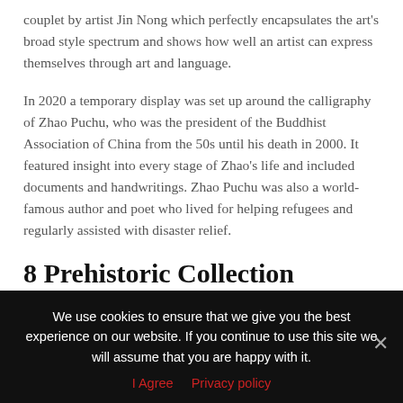couplet by artist Jin Nong which perfectly encapsulates the art's broad style spectrum and shows how well an artist can express themselves through art and language.
In 2020 a temporary display was set up around the calligraphy of Zhao Puchu, who was the president of the Buddhist Association of China from the 50s until his death in 2000. It featured insight into every stage of Zhao's life and included documents and handwritings. Zhao Puchu was also a world-famous author and poet who lived for helping refugees and regularly assisted with disaster relief.
8 Prehistoric Collection
The National Archaeological Museum of Athens offers a captivating look at ancient Greek life and has more than 11,000 exhibits that
We use cookies to ensure that we give you the best experience on our website. If you continue to use this site we will assume that you are happy with it.